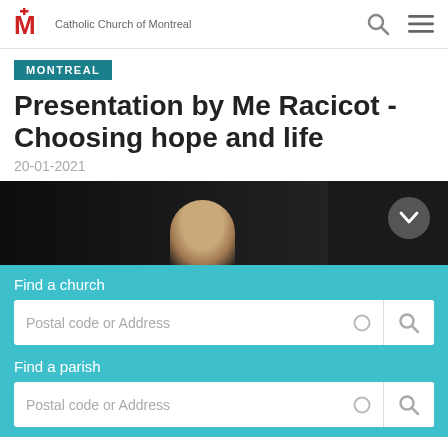Catholic Church of Montreal
MONTREAL
Presentation by Me Racicot - Choosing hope and life
20-01-2021
[Figure (photo): A person photographed in low light / dark background, partial head visible, with a dark right panel]
Find a church
Postal code or Address
Find a parish
Postal code or Address